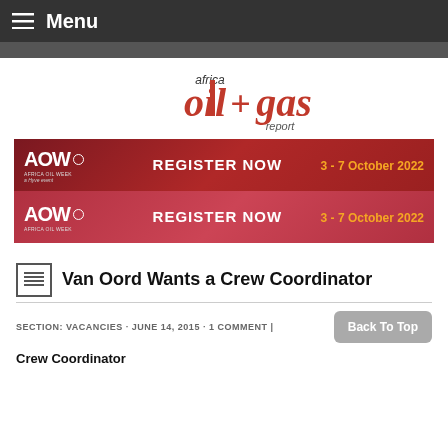Menu
[Figure (logo): Africa Oil+Gas Report logo with red stylized text]
[Figure (infographic): AOW Africa Oil Week banner - REGISTER NOW 3-7 October 2022 (appears twice)]
Van Oord Wants a Crew Coordinator
SECTION: VACANCIES · JUNE 14, 2015 · 1 COMMENT |
Crew Coordinator